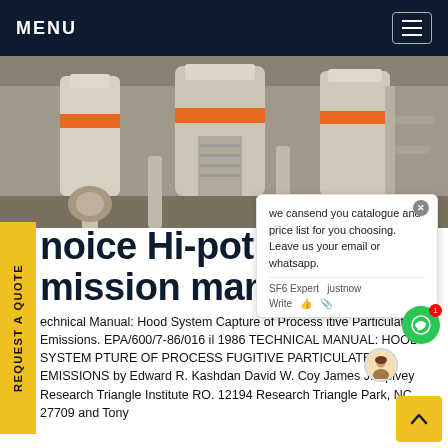MENU
[Figure (photo): Industrial machinery with white equipment and orange-striped elements, likely gas or electrical processing equipment]
we cansend you catalogue and price list for you choosing. Leave us your email or whatsapp.
noice Hi-pot SF6 mission manual
echnical Manual: Hood System Capture of Process itive Particulate Emissions. EPA/600/7-86/016 il 1986 TECHNICAL MANUAL: HOOD SYSTEM PTURE OF PROCESS FUGITIVE PARTICULATE EMISSIONS by Edward R. Kashdan David W. Coy James J. Spivey Research Triangle Institute RO. 12194 Research Triangle Park, NC 27709 and Tony